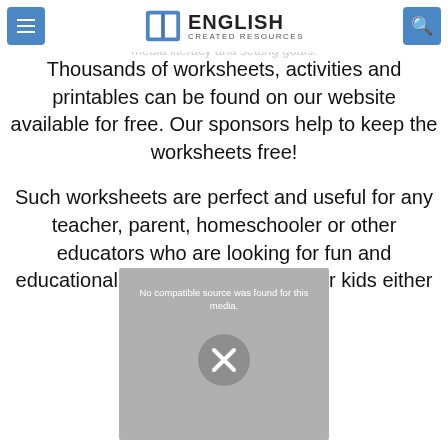language, science, social skills, behavioral, social-emotional learning, media literacy and setting goals.
[Figure (logo): English Created Resources logo with book icon and navigation buttons]
Thousands of worksheets, activities and printables can be found on our website available for free. Our sponsors help to keep the worksheets free!
Such worksheets are perfect and useful for any teacher, parent, homeschooler or other educators who are looking for fun and educational activities to do with their kids either at
[Figure (screenshot): Video player overlay with 'No compatible source was found for this media.' message and close (X) button]